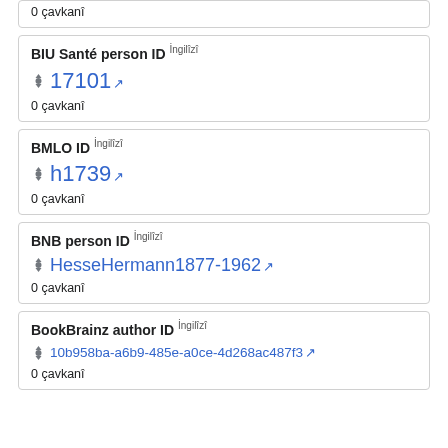0 çavkanî
BIU Santé person ID İngilîzî
17101
0 çavkanî
BMLO ID İngilîzî
h1739
0 çavkanî
BNB person ID İngilîzî
HesseHermann1877-1962
0 çavkanî
BookBrainz author ID İngilîzî
10b958ba-a6b9-485e-a0ce-4d268ac487f3
0 çavkanî